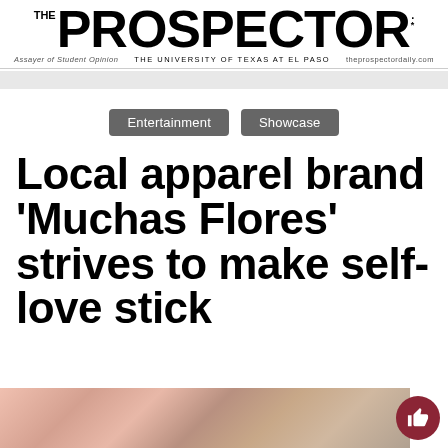THE PROSPECTOR — Assayer of Student Opinion | THE UNIVERSITY OF TEXAS AT EL PASO | theprospectordaily.com
Entertainment   Showcase
Local apparel brand 'Muchas Flores' strives to make self-love stick
[Figure (photo): Bottom strip of a photograph showing apparel/accessories items with warm pink and brown tones, partially visible at the bottom of the page. A dark red circular thumbs-up button appears in the lower right corner.]